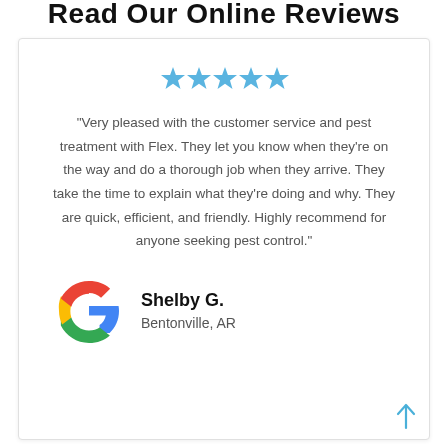Read Our Online Reviews
[Figure (other): Five blue star rating icons]
"Very pleased with the customer service and pest treatment with Flex. They let you know when they're on the way and do a thorough job when they arrive. They take the time to explain what they're doing and why. They are quick, efficient, and friendly. Highly recommend for anyone seeking pest control."
[Figure (logo): Google logo multicolor G icon]
Shelby G.
Bentonville, AR